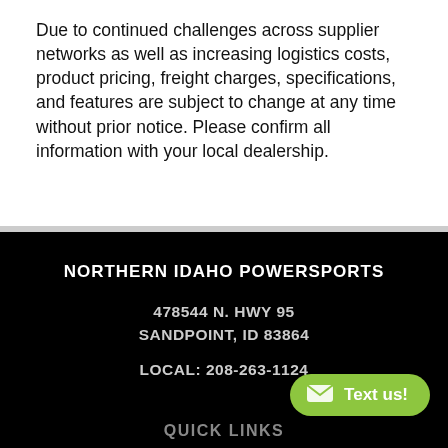Due to continued challenges across supplier networks as well as increasing logistics costs, product pricing, freight charges, specifications, and features are subject to change at any time without prior notice. Please confirm all information with your local dealership.
NORTHERN IDAHO POWERSPORTS
478544 N. HWY 95
SANDPOINT, ID 83864
LOCAL: 208-263-1124
QUICK LINKS